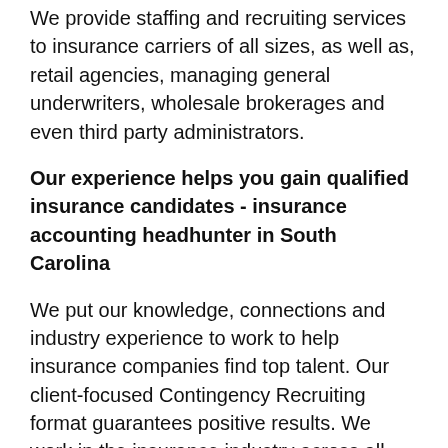We provide staffing and recruiting services to insurance carriers of all sizes, as well as, retail agencies, managing general underwriters, wholesale brokerages and even third party administrators.
Our experience helps you gain qualified insurance candidates - insurance accounting headhunter in South Carolina
We put our knowledge, connections and industry experience to work to help insurance companies find top talent. Our client-focused Contingency Recruiting format guarantees positive results. We work in the insurance industry across all titles and departments.
With more than 40 years of combined insurance recruiting and staffing expertise and nine years of insurance sales, our team can anticipate your company's needs and avoid the hiring clutter – in fact…